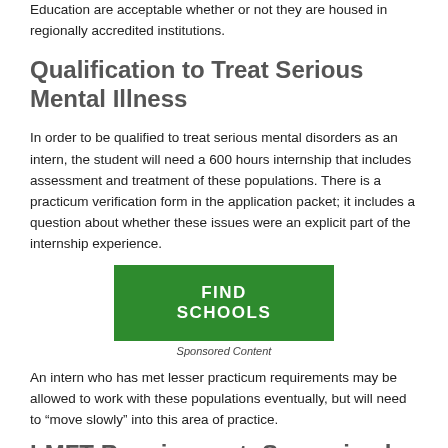Education are acceptable whether or not they are housed in regionally accredited institutions.
Qualification to Treat Serious Mental Illness
In order to be qualified to treat serious mental disorders as an intern, the student will need a 600 hours internship that includes assessment and treatment of these populations. There is a practicum verification form in the application packet; it includes a question about whether these issues were an explicit part of the internship experience.
[Figure (other): Green button labeled FIND SCHOOLS with Sponsored Content text below]
An intern who has met lesser practicum requirements may be allowed to work with these populations eventually, but will need to “move slowly” into this area of practice.
LMFT Requirement: Supervised Experience